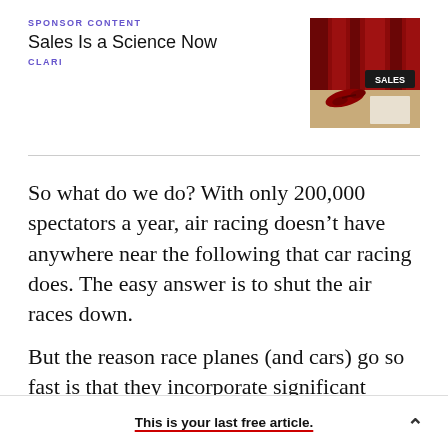SPONSOR CONTENT
Sales Is a Science Now
CLARI
[Figure (photo): Photo of a red telephone and a SALES sign on a desk with red curtain in background]
So what do we do? With only 200,000 spectators a year, air racing doesn't have anywhere near the following that car racing does. The easy answer is to shut the air races down.
But the reason race planes (and cars) go so fast is that they incorporate significant innovation—some
This is your last free article.